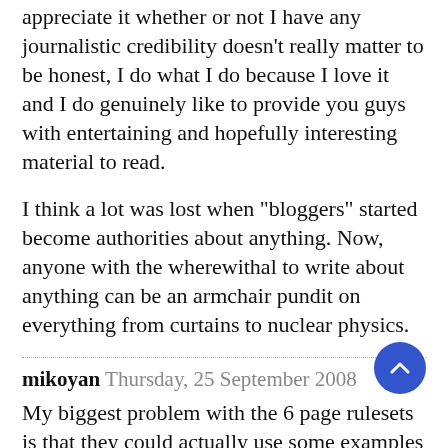appreciate it whether or not I have any journalistic credibility doesn't really matter to be honest, I do what I do because I love it and I do genuinely like to provide you guys with entertaining and hopefully interesting material to read.
I think a lot was lost when "bloggers" started become authorities about anything. Now, anyone with the wherewithal to write about anything can be an armchair pundit on everything from curtains to nuclear physics.
mikoyan Thursday, 25 September 2008
My biggest problem with the 6 page rulesets is that they could actually use some examples especially in the case where they are written by someone who clearly does not speak English as his first language. My biggest pet peeve right now is the Agricola rules. It's all well and good that they put examples on the back of the game